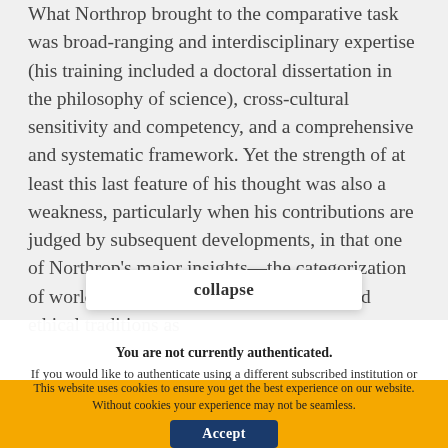What Northrop brought to the comparative task was broad-ranging and interdisciplinary expertise (his training included a doctoral dissertation in the philosophy of science), cross-cultural sensitivity and competency, and a comprehensive and systematic framework. Yet the strength of at least this last feature of his thought was also a weakness, particularly when his contributions are judged by subsequent developments, in that one of Northrop's major insights—the categorization of world philosophical, epistemological and ethical traditions as
collapse
You are not currently authenticated. If you would like to authenticate using a different subscribed institution or
This website uses cookies to ensure you get the best experience on our website. Without cookies your experience may not be seamless.
Accept